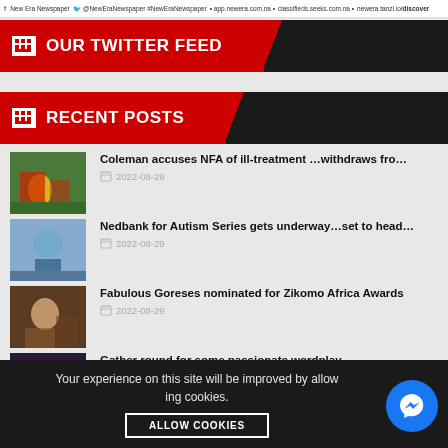f New Era Newspaper @NewEraNewspaper #NewEraNewspaper • app.newera.com.na • classifieds.seeks.com.na • newera.tanzi.io/discover
OUR TWITTER FEED
RECENT POSTS
Coleman accuses NFA of ill-treatment ...withdraws fro... | 2022-08-29
Nedbank for Autism Series gets underway...set to head... | 2022-08-29
Fabulous Goreses nominated for Zikomo Africa Awards | 2022-08-29
Gather round for some passionate wordplay | 2022-08-29
Your experience on this site will be improved by allowing cookies.
ALLOW COOKIES